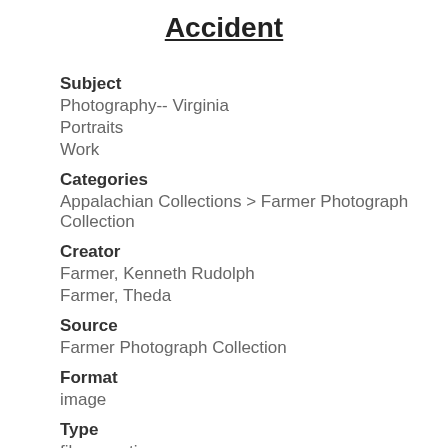Accident
Subject
Photography-- Virginia
Portraits
Work
Categories
Appalachian Collections > Farmer Photograph Collection
Creator
Farmer, Kenneth Rudolph
Farmer, Theda
Source
Farmer Photograph Collection
Format
image
Type
film negative
Coverage